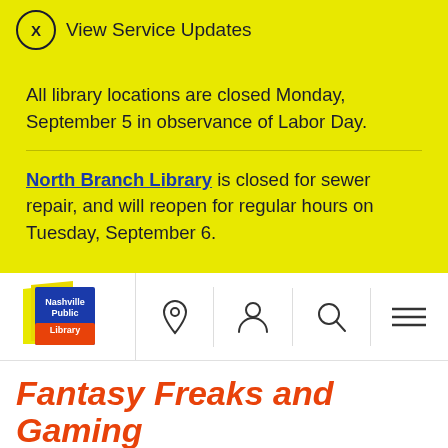View Service Updates
All library locations are closed Monday, September 5 in observance of Labor Day.
North Branch Library is closed for sewer repair, and will reopen for regular hours on Tuesday, September 6.
[Figure (logo): Nashville Public Library logo with navigation icons: location pin, user/account, search, and menu]
Fantasy Freaks and Gaming